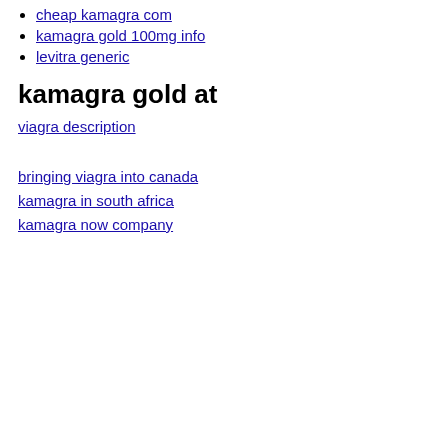cheap kamagra com
kamagra gold 100mg info
levitra generic
kamagra gold at
viagra description
bringing viagra into canada
kamagra in south africa
kamagra now company